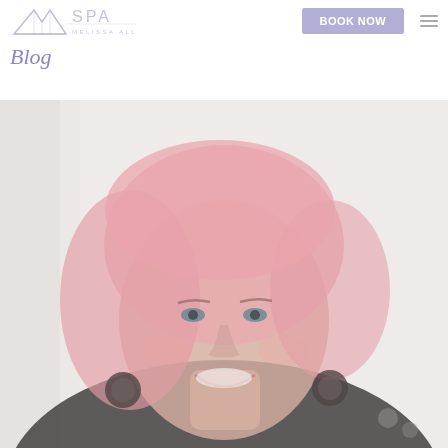M SPA MELISSA ALLEN
Blog
[Figure (photo): Portrait photo of a smiling woman with pink/rose-colored hair, wearing a dark top and round earrings, photographed against a light background]